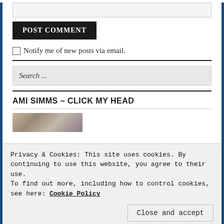[text input box]
POST COMMENT
Notify me of new posts via email.
Search ...
AMI SIMMS – CLICK MY HEAD
[Figure (photo): Thumbnail photo strip showing a quilted pattern, partially visible]
Privacy & Cookies: This site uses cookies. By continuing to use this website, you agree to their use.
To find out more, including how to control cookies, see here: Cookie Policy
Close and accept